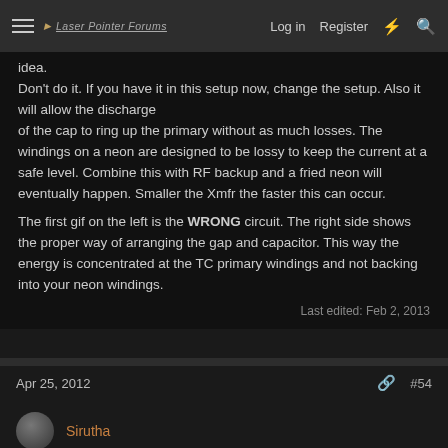Laser Pointer Forums   Log in   Register
idea.
Don't do it. If you have it in this setup now, change the setup. Also it will allow the discharge of the cap to ring up the primary without as much losses. The windings on a neon are designed to be lossy to keep the current at a safe level. Combine this with RF backup and a fried neon will eventually happen. Smaller the Xmfr the faster this can occur.

The first gif on the left is the WRONG circuit. The right side shows the proper way of arranging the gap and capacitor. This way the energy is concentrated at the TC primary windings and not backing into your neon windings.
Last edited: Feb 2, 2013
Apr 25, 2012   #54
Sirutha